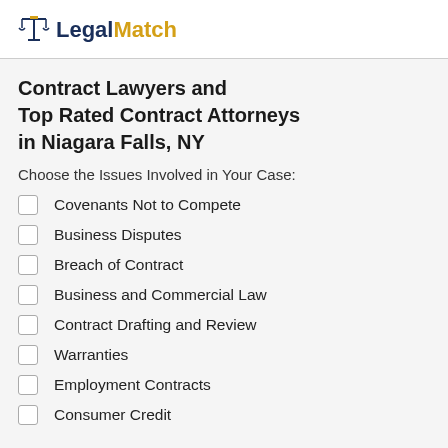LegalMatch
Contract Lawyers and Top Rated Contract Attorneys in Niagara Falls, NY
Choose the Issues Involved in Your Case:
Covenants Not to Compete
Business Disputes
Breach of Contract
Business and Commercial Law
Contract Drafting and Review
Warranties
Employment Contracts
Consumer Credit